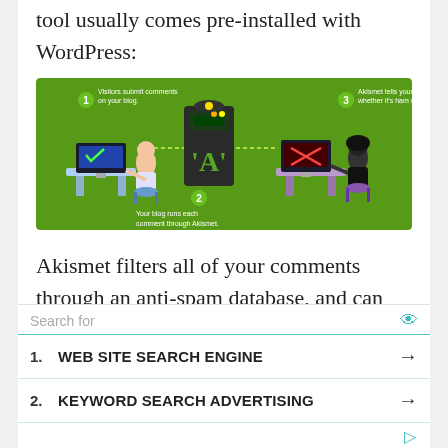tool usually comes pre-installed with WordPress:
[Figure (illustration): Akismet infographic on green background showing: 1) Visitors submit comments on your blog (person at computer), 2) Your blog runs each comment through Akismet (server with A logo), 3) Akismet tells your blog whether it's ham or spam (hacker figure at computer)]
Akismet filters all of your comments through an anti-spam database, and can catch the most common types of spam. The plugin is free to use, but you will need to sign up for an API key.
Search for
1. WEB SITE SEARCH ENGINE
2. KEYWORD SEARCH ADVERTISING